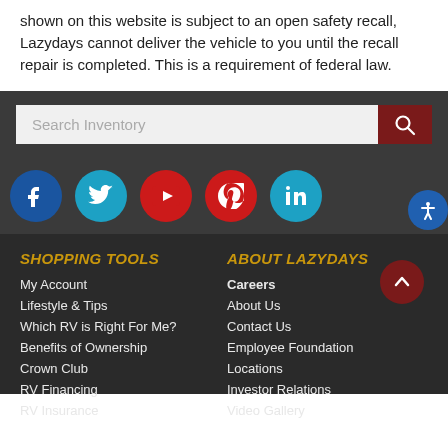shown on this website is subject to an open safety recall, Lazydays cannot deliver the vehicle to you until the recall repair is completed. This is a requirement of federal law.
[Figure (screenshot): Search inventory bar with dark red search button and magnifying glass icon]
[Figure (infographic): Social media icons row: Facebook (blue), Twitter (cyan), YouTube (red), Pinterest (red), LinkedIn (cyan)]
SHOPPING TOOLS
My Account
Lifestyle & Tips
Which RV is Right For Me?
Benefits of Ownership
Crown Club
RV Financing
RV Insurance
ABOUT LAZYDAYS
Careers
About Us
Contact Us
Employee Foundation
Locations
Investor Relations
Video Gallery